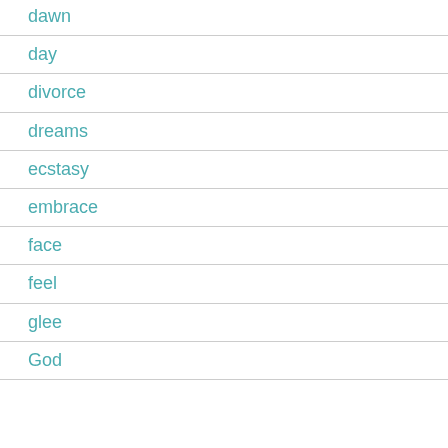dawn
day
divorce
dreams
ecstasy
embrace
face
feel
glee
God